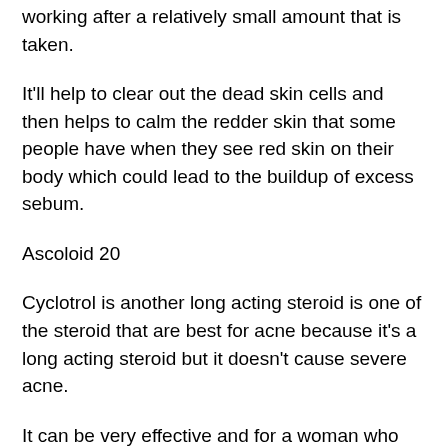much more mild effect. Also it's a long acting medication whereas steroids tend to stop working after a relatively small amount that is taken.
It'll help to clear out the dead skin cells and then helps to calm the redder skin that some people have when they see red skin on their body which could lead to the buildup of excess sebum.
Ascoloid 20
Cyclotrol is another long acting steroid is one of the steroid that are best for acne because it's a long acting steroid but it doesn't cause severe acne.
It can be very effective and for a woman who needs a strong acne suppressant steroid.